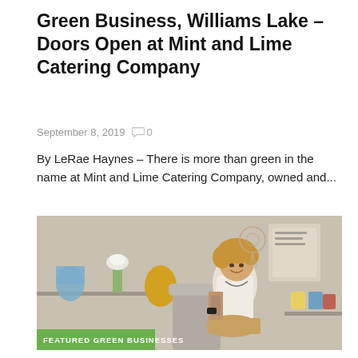Green Business, Williams Lake – Doors Open at Mint and Lime Catering Company
September 8, 2019   0
By LeRae Haynes – There is more than green in the name at Mint and Lime Catering Company, owned and...
[Figure (photo): Woman with blonde hair sitting in a grey chair, smiling, in a shop interior with shelves displaying items. A green badge reading 'FEATURED GREEN BUSINESSES' appears at the bottom left of the photo.]